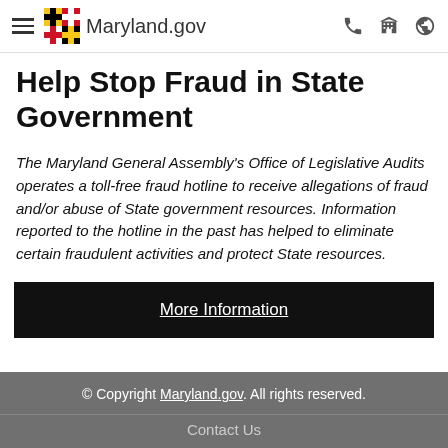Maryland.gov
Help Stop Fraud in State Government
The Maryland General Assembly's Office of Legislative Audits operates a toll-free fraud hotline to receive allegations of fraud and/or abuse of State government resources. Information reported to the hotline in the past has helped to eliminate certain fraudulent activities and protect State resources.
More Information
© Copyright Maryland.gov. All rights reserved.
Contact Us